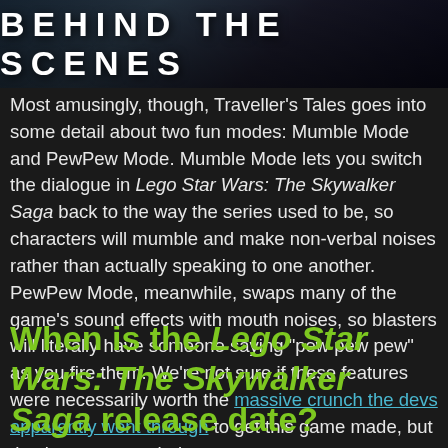[Figure (photo): Behind the Scenes banner header image with dark sci-fi background and bold white text reading BEHIND THE SCENES]
Most amusingly, though, Traveller's Tales goes into some detail about two fun modes: Mumble Mode and PewPew Mode. Mumble Mode lets you switch the dialogue in Lego Star Wars: The Skywalker Saga back to the way the series used to be, so characters will mumble and make non-verbal noises rather than actually speaking to one another. PewPew Mode, meanwhile, swaps many of the game's sound effects with mouth noises, so blasters will literally have someone saying "pew pew pew" as you fire them. We're not sure if these features were necessarily worth the massive crunch the devs apparently went through to get this game made, but they're neat nonetheless.
When is the Lego Star Wars: The Skywalker Saga release date?